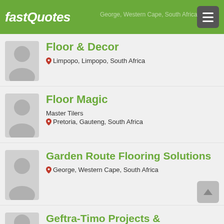fastQuotes — George, Western Cape, South Africa
Floor & Decor
Limpopo, Limpopo, South Africa
Floor Magic
Master Tilers
Pretoria, Gauteng, South Africa
Garden Route Flooring Solutions
George, Western Cape, South Africa
Geftra-Timo Projects &